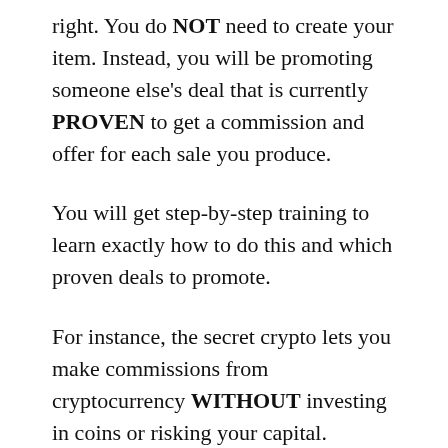right. You do NOT need to create your item. Instead, you will be promoting someone else's deal that is currently PROVEN to get a commission and offer for each sale you produce.
You will get step-by-step training to learn exactly how to do this and which proven deals to promote.
For instance, the secret crypto lets you make commissions from cryptocurrency WITHOUT investing in coins or risking your capital. Instead, you require to continue to step 2 when you've selected an offer.